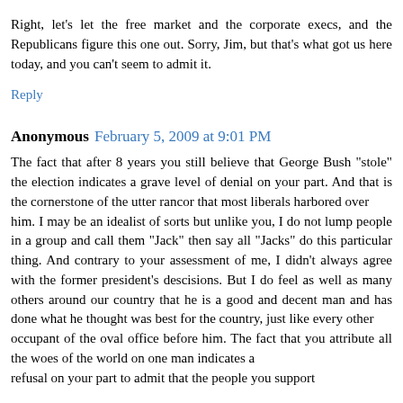Right, let's let the free market and the corporate execs, and the Republicans figure this one out. Sorry, Jim, but that's what got us here today, and you can't seem to admit it.
Reply
Anonymous February 5, 2009 at 9:01 PM
The fact that after 8 years you still believe that George Bush "stole" the election indicates a grave level of denial on your part. And that is the cornerstone of the utter rancor that most liberals harbored over him. I may be an idealist of sorts but unlike you, I do not lump people in a group and call them "Jack" then say all "Jacks" do this particular thing. And contrary to your assessment of me, I didn't always agree with the former president's descisions. But I do feel as well as many others around our country that he is a good and decent man and has done what he thought was best for the country, just like every other occupant of the oval office before him. The fact that you attribute all the woes of the world on one man indicates a refusal on your part to admit that the people you support